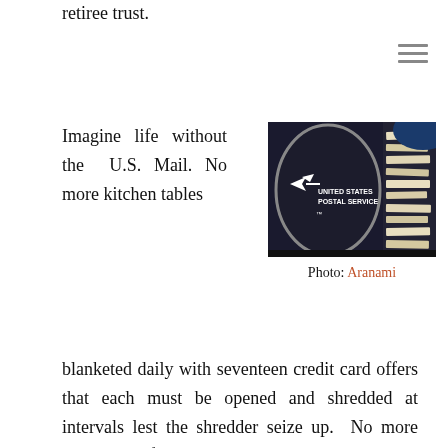retiree trust.
Imagine life without the U.S. Mail. No more kitchen tables
[Figure (photo): A United States Postal Service mail collection bin/container, dark colored with the USPS eagle logo and text 'UNITED STATES POSTAL SERVICE', with mail visible in the background.]
Photo: Aranami
blanketed daily with seventeen credit card offers that each must be opened and shredded at intervals lest the shredder seize up. No more catalogues from the previous homeowners to geriatric medical supply companies. No more pleas from alma maters for